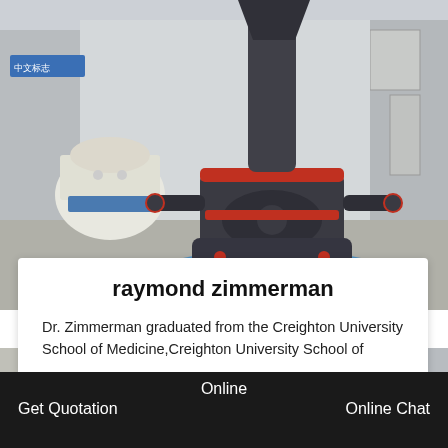[Figure (photo): Industrial grinding mill machine (Raymond mill) in a factory/warehouse setting. The machine is large, dark gray/black with red accents, sitting on a blue base. Another white machine is visible in the background on the left.]
raymond zimmerman
Dr. Zimmerman graduated from the Creighton University School of Medicine,Creighton University School of
[Figure (photo): Partial view of industrial equipment in a factory — orange/red machine visible on the left side.]
Online
Get Quotation
Online Chat